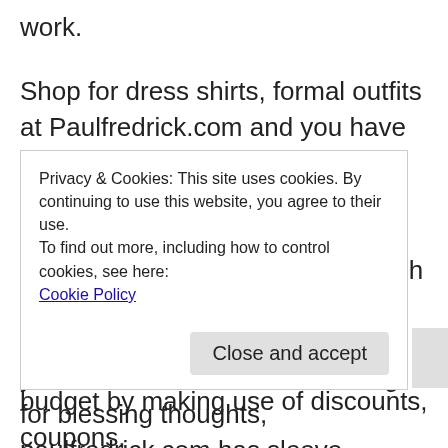work.
Shop for dress shirts, formal outfits at Paulfredrick.com and you have the chance to look over among changed hues, cuts and styles. In case you’re searching for adornments, you can without much of a stretch consolidate pocket squares, belts and caps that fit your new dress. When searching for blessing thoughts, paulfredrick.com has sleeve fasteners that you can alter. You can discover incredible healthy skin items from your preferred
Privacy & Cookies: This site uses cookies. By continuing to use this website, you agree to their use.
To find out more, including how to control cookies, see here:
Cookie Policy
Close and accept
budget by making use of discounts, coupons,